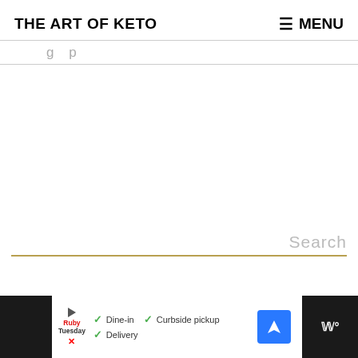THE ART OF KETO
≡ MENU
g p
Search
[Figure (screenshot): Advertisement bar at the bottom showing Ruby Tuesday restaurant ad with Dine-in, Curbside pickup, and Delivery options, a blue navigation icon, and a dark panel on the right with letter W and degree symbol]